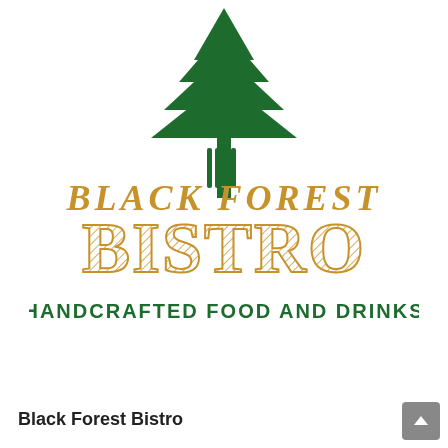[Figure (logo): Black Forest Bistro logo featuring a dark green pine tree above a fork, with 'BLACK FOREST' in golden/tan serif text and 'BISTRO' in large decorative golden letters with hatching pattern, and 'HANDCRAFTED FOOD AND DRINKS' in dark green bold condensed text below]
Black Forest Bistro